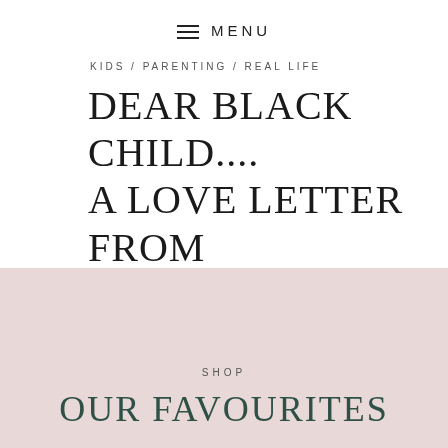≡  MENU
KIDS / PARENTING / REAL LIFE
DEAR BLACK CHILD.... A LOVE LETTER FROM YOUR PARENTS
SHOP
OUR FAVOURITES